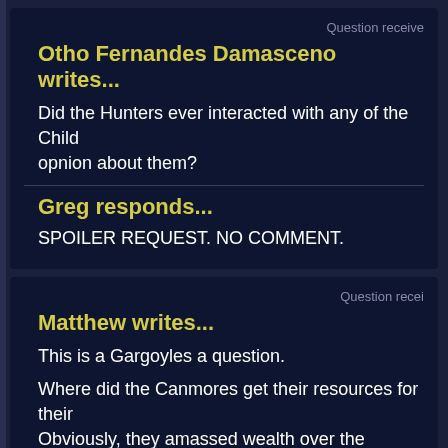Question receive
Otho Fernandes Damasceno writes...
Did the Hunters ever interacted with any of the Child opnion about them?
Greg responds...
SPOILER REQUEST. NO COMMENT.
Question recei
Matthew writes...
This is a Gargoyles a question.
Where did the Canmores get their resources for their Obviously, they amassed wealth over the centuries, businesses? The original Hunter was an Assassin fo Hunters do assassin/mercenary work since it involve